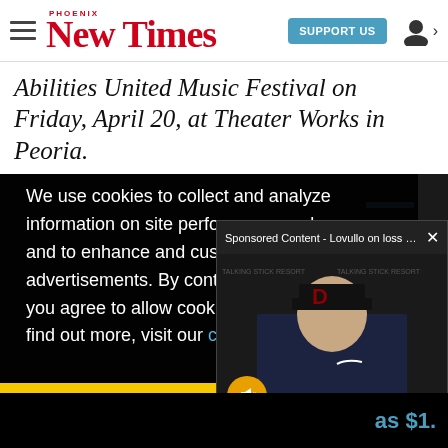[Figure (logo): Phoenix New Times logo with hamburger menu, Support Us button, and user icon]
Abilities United Music Festival on Friday, April 20, at Theater Works in Peoria.
We use cookies to collect and analyze information on site performance and usage, and to enhance and customize content and advertisements. By continuing to use the site, you agree to allow cookies to be placed. To find out more, visit our cookies policy a…
Got it!
[Figure (screenshot): Sponsored Content video popup: Lovullo on loss ag... showing Arizona Diamondbacks manager at press conference with mute button overlay]
as $1.